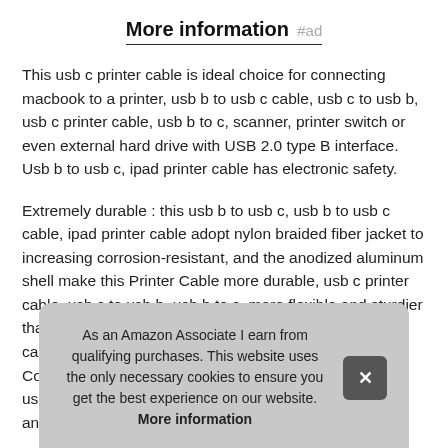More information #ad
This usb c printer cable is ideal choice for connecting macbook to a printer, usb b to usb c cable, usb c to usb b, usb c printer cable, usb b to c, scanner, printer switch or even external hard drive with USB 2.0 type B interface. Usb b to usb c, ipad printer cable has electronic safety.
Extremely durable : this usb b to usb c, usb b to usb c cable, ipad printer cable adopt nylon braided fiber jacket to increasing corrosion-resistant, and the anodized aluminum shell make this Printer Cable more durable, usb c printer cable, usb c to usb b, usb b to c, more flexible and sturdier than the normal one cab Con usb and
As an Amazon Associate I earn from qualifying purchases. This website uses the only necessary cookies to ensure you get the best experience on our website. More information